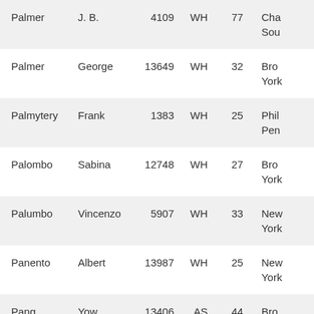| Last | First | Num | Code | Age | City |
| --- | --- | --- | --- | --- | --- |
| Palmer | J. B. | 4109 | WH | 77 | Cha Sou |
| Palmer | George | 13649 | WH | 32 | Bro York |
| Palmytery | Frank | 1383 | WH | 25 | Phil Pen |
| Palombo | Sabina | 12748 | WH | 27 | Bro York |
| Palumbo | Vincenzo | 5907 | WH | 33 | New York |
| Panento | Albert | 13987 | WH | 25 | New York |
| Pang | Yow | 13406 | AS | 44 | Bro |